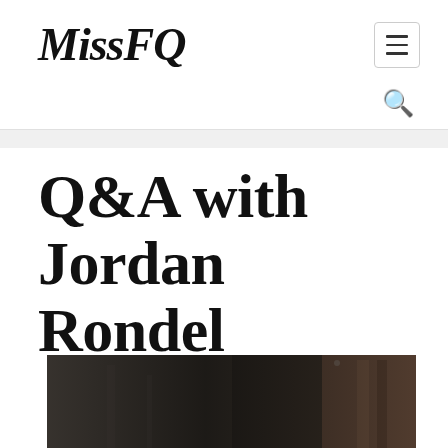MissFQ
Q&A with Jordan Rondel
[Figure (photo): A photograph showing an interior or exterior scene with dark tones, wooden elements and reflective surfaces, partially visible at the bottom of the page.]